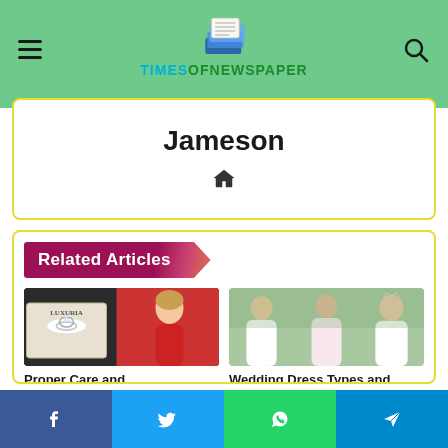TIMES OF NEWSPAPER
Jameson
Related Articles
[Figure (photo): Woman in red dress posed next to a jewelry box with diamond ring, Luxuria brand]
Proper Care and
[Figure (photo): Three brides in white wedding dresses posed outdoors]
Wedding Dress Types and
Facebook  Twitter  WhatsApp  Telegram